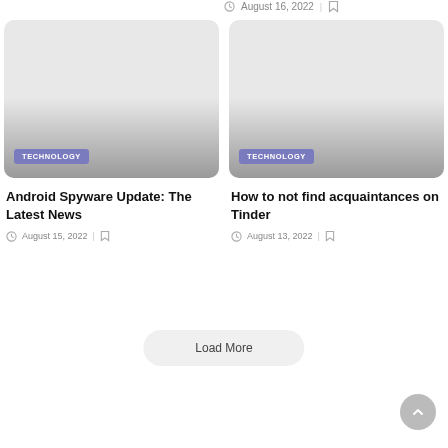August 16, 2022
[Figure (photo): Card image placeholder with TECHNOLOGY category badge, left card]
Android Spyware Update: The Latest News
August 15, 2022
[Figure (photo): Card image placeholder with TECHNOLOGY category badge, right card]
How to not find acquaintances on Tinder
August 13, 2022
Load More